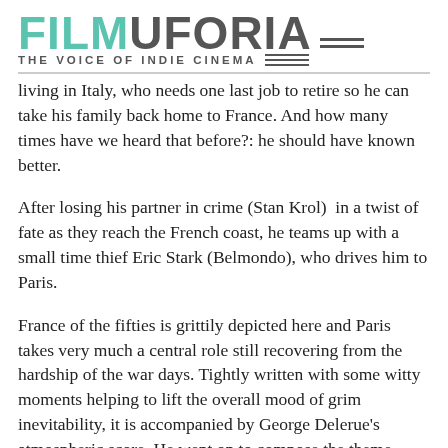FILMUFORIA — THE VOICE OF INDIE CINEMA
living in Italy, who needs one last job to retire so he can take his family back home to France. And how many times have we heard that before?: he should have known better.
After losing his partner in crime (Stan Krol)  in a twist of fate as they reach the French coast, he teams up with a small time thief Eric Stark (Belmondo), who drives him to Paris.
France of the fifties is grittily depicted here and Paris takes very much a central role still recovering from the hardship of the war days. Tightly written with some witty moments helping to lift the overall mood of grim inevitability, it is accompanied by George Delerue's atmospheric score. He went on to compose the theme tunes to A Man for All Seasons and The Day of The Jackal and has just written the soundtrack to current hit: Frances Ha.
The female characters here know their place in film noir is to be cool and simmering or proud and coquettish in support